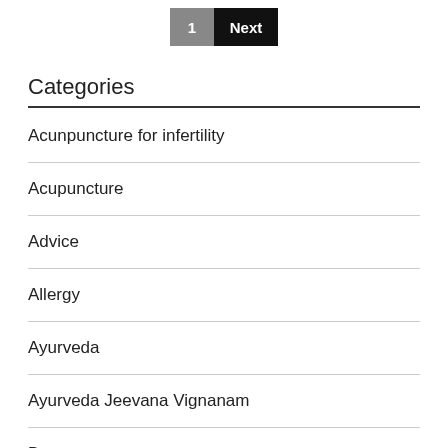1
Next
Categories
Acunpuncture for infertility
Acupuncture
Advice
Allergy
Ayurveda
Ayurveda Jeevana Vignanam
Beauty